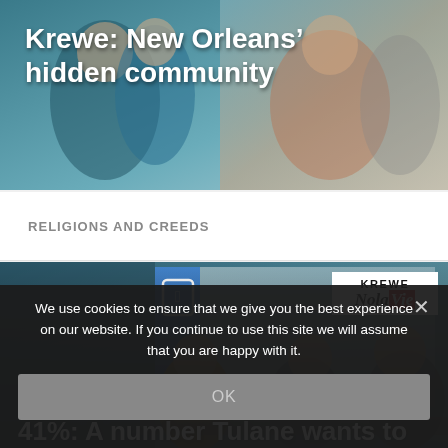[Figure (photo): Header photo with people in colorful clothing, teal/blue background, article thumbnail for Krewe story]
Krewe: New Orleans’ hidden community
RELIGIONS AND CREEDS
[Figure (photo): Tulane University event photo showing three panelists seated at a table, with Tulane shield logo and KREWE NolaVie badge overlay, headline '41%: A number Tulane wants to']
41%: A number Tulane wants to
We use cookies to ensure that we give you the best experience on our website. If you continue to use this site we will assume that you are happy with it.
OK